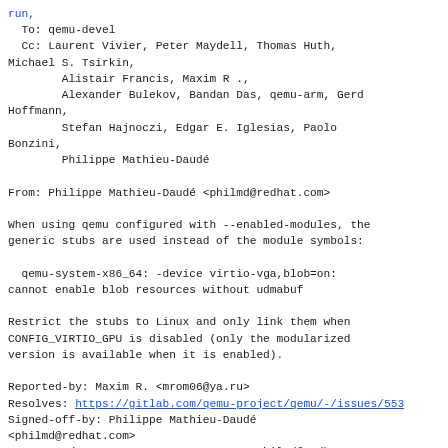run,
  To: qemu-devel
  Cc: Laurent Vivier, Peter Maydell, Thomas Huth,
Michael S. Tsirkin,
        Alistair Francis, Maxim R .,
        Alexander Bulekov, Bandan Das, qemu-arm, Gerd
Hoffmann,
        Stefan Hajnoczi, Edgar E. Iglesias, Paolo
Bonzini,
        Philippe Mathieu-Daudé

From: Philippe Mathieu-Daudé <philmd@redhat.com>

When using qemu configured with --enabled-modules, the
generic stubs are used instead of the module symbols:

  qemu-system-x86_64: -device virtio-vga,blob=on:
cannot enable blob resources without udmabuf

Restrict the stubs to Linux and only link them when
CONFIG_VIRTIO_GPU is disabled (only the modularized
version is available when it is enabled).

Reported-by: Maxim R. <mrom06@ya.ru>
Resolves: https://gitlab.com/qemu-project/qemu/-/issues/553
Signed-off-by: Philippe Mathieu-Daudé
<philmd@redhat.com>
Message-Id: <20210823100454.615816-2-philmd@redhat.com>
Signed-off-by: Gerd Hoffmann <kraxel@redhat.com>
---